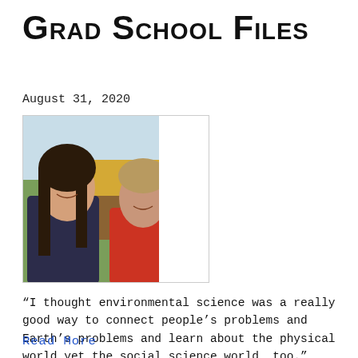Grad School Files
August 31, 2020
[Figure (photo): Two young women smiling, standing outdoors with a colorful landscape/geological map visible in the background. The woman on the left has long dark hair; the woman on the right has short light hair and is wearing a red top.]
“I thought environmental science was a really good way to connect people’s problems and Earth’s problems and learn about the physical world yet the social science world, too.”
Read More